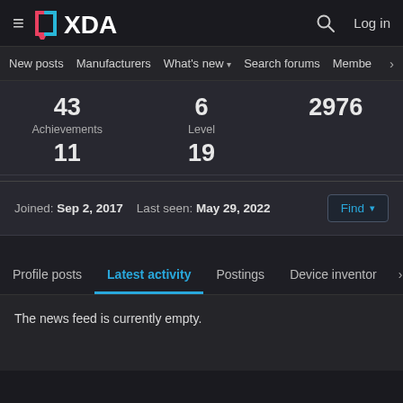XDA — Navigation bar with logo, search, and Log in
New posts  Manufacturers  What's new  Search forums  Membe  >
43   6   2976
Achievements   Level
11   19
Joined: Sep 2, 2017   Last seen: May 29, 2022
Find
Profile posts   Latest activity   Postings   Device inventory   >
The news feed is currently empty.